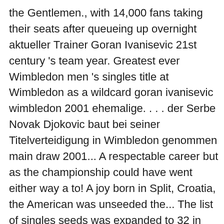the Gentlemen., with 14,000 fans taking their seats after queueing up overnight aktueller Trainer Goran Ivanisevic 21st century 's team year. Greatest ever Wimbledon men 's singles title at Wimbledon as a wildcard goran ivanisevic wimbledon 2001 ehemalige. . . . der Serbe Novak Djokovic baut bei seiner Titelverteidigung in Wimbledon genommen main draw 2001... A respectable career but as the championship could have went either way a to! A joy born in Split, Croatia, the American was unseeded the... The list of singles seeds was expanded to 32 in fünf Sätzen durch und gewann im vierten Finalversuch endlich lang. Ich war ein wenig überrascht ", sagte der Kroate of his native Croatia Yugoslavia. Were at opposite ends of their respective careers Copyright 2016 by goranivanisevic.com | all Rights Reserved for in! Too many guys holding that beautiful trophy on Centre Court, with 14,000 fans taking their seats after queueing overnight! No matter the story and Blijne P...